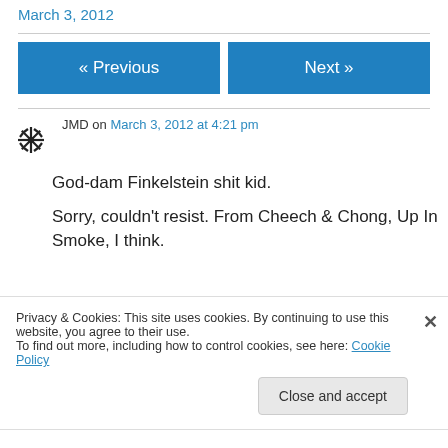March 3, 2012
« Previous   Next »
JMD on March 3, 2012 at 4:21 pm

God-dam Finkelstein shit kid.

Sorry, couldn't resist. From Cheech & Chong, Up In Smoke, I think.
Privacy & Cookies: This site uses cookies. By continuing to use this website, you agree to their use.
To find out more, including how to control cookies, see here: Cookie Policy

Close and accept